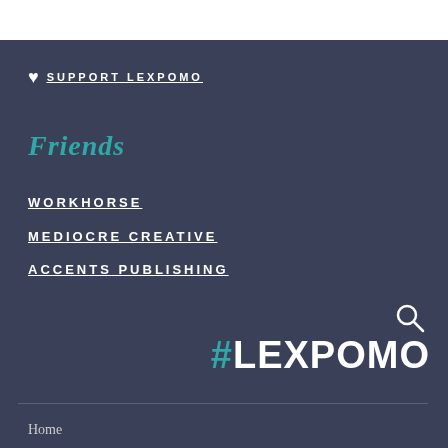♥ SUPPORT LEXPOMO
Friends
WORKHORSE
MEDIOCRE CREATIVE
ACCENTS PUBLISHING
[Figure (logo): #LEXPOMO logo with search icon]
Home